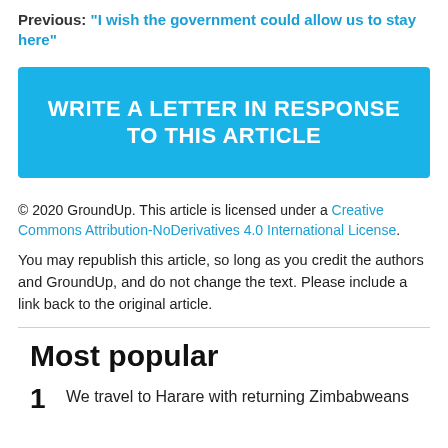Previous: "I wish the government could allow us to stay here"
WRITE A LETTER IN RESPONSE TO THIS ARTICLE
© 2020 GroundUp. This article is licensed under a Creative Commons Attribution-NoDerivatives 4.0 International License.
You may republish this article, so long as you credit the authors and GroundUp, and do not change the text. Please include a link back to the original article.
Most popular
1 We travel to Harare with returning Zimbabweans